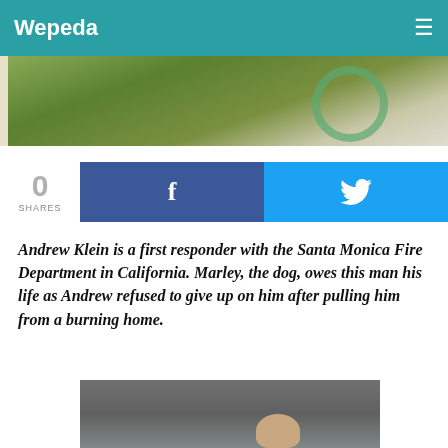Wepeda
[Figure (photo): Top portion of an outdoor photo showing grass and a green hoop/ring on the ground]
0 SHARES
[Figure (infographic): Facebook share button (dark blue) and Twitter share button (light blue)]
Andrew Klein is a first responder with the Santa Monica Fire Department in California. Marley, the dog, owes this man his life as Andrew refused to give up on him after pulling him from a burning home.
[Figure (photo): Bottom portion of a photo showing a person crouching or kneeling on a wet surface]